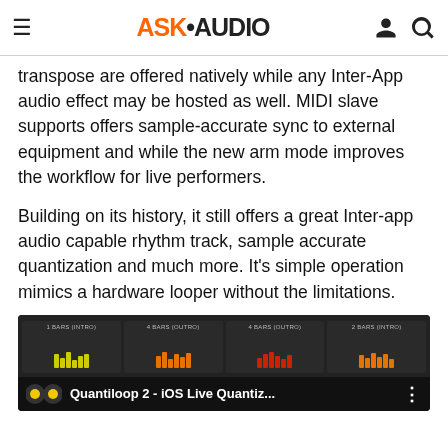ASK•AUDIO
transpose are offered natively while any Inter-App audio effect may be hosted as well. MIDI slave supports offers sample-accurate sync to external equipment and while the new arm mode improves the workflow for live performers.
Building on its history, it still offers a great Inter-app audio capable rhythm track, sample accurate quantization and much more. It's simple operation mimics a hardware looper without the limitations.
[Figure (screenshot): YouTube video thumbnail for 'Quantiloop 2 - iOS Live Quantiz...' showing looper track UI with colored bar segments]